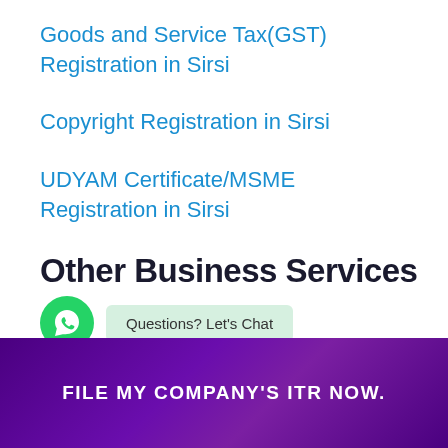Goods and Service Tax(GST) Registration in Sirsi
Copyright Registration in Sirsi
UDYAM Certificate/MSME Registration in Sirsi
Other Business Services
Questions? Let's Chat
FILE MY COMPANY'S ITR NOW.